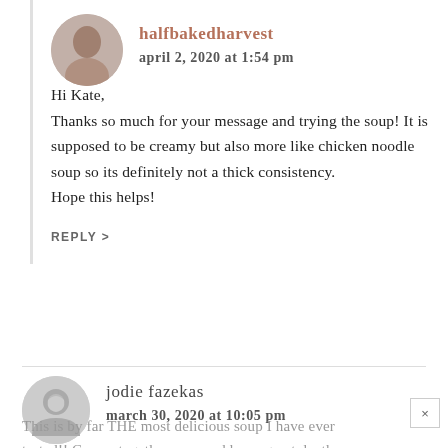[Figure (photo): Circular avatar photo of halfbakedharvest blogger]
halfbakedharvest
april 2, 2020 at 1:54 pm
Hi Kate,
Thanks so much for your message and trying the soup! It is supposed to be creamy but also more like chicken noodle soup so its definitely not a thick consistency.
Hope this helps!
REPLY >
[Figure (illustration): Generic grey circular user avatar icon for jodie fazekas]
jodie fazekas
march 30, 2020 at 10:05 pm
This is by far THE most delicious soup I have ever tasted!! Comes together easy and has a great depth